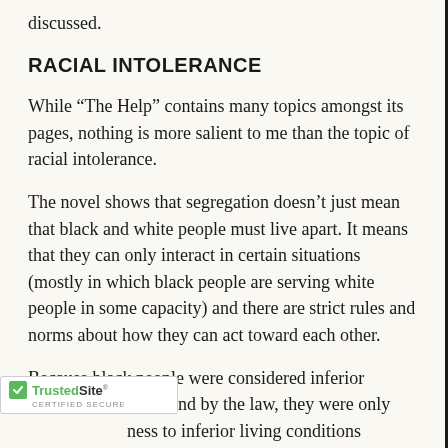discussed.
RACIAL INTOLERANCE
While “The Help” contains many topics amongst its pages, nothing is more salient to me than the topic of racial intolerance.
The novel shows that segregation doesn’t just mean that black and white people must live apart. It means that they can only interact in certain situations (mostly in which black people are serving white people in some capacity) and there are strict rules and norms about how they can act toward each other.
Because black people were considered inferior hites, and by the law, they were only ness to inferior living conditions